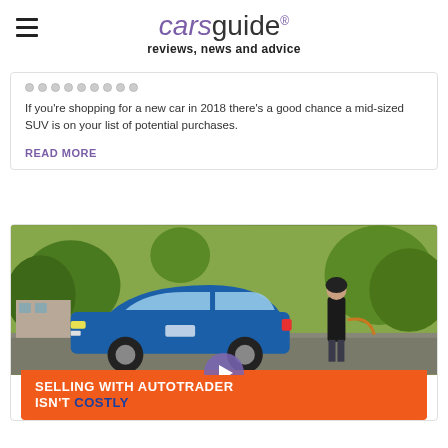carsguide reviews, news and advice
If you're shopping for a new car in 2018 there's a good chance a mid-sized SUV is on your list of potential purchases.
READ MORE
[Figure (photo): Blue Kia Niro electric vehicle parked outdoors with a person standing next to it holding a charging cable, trees in background, carsguide branded image with play button overlay]
Kia Niro 2021 review
SELLING WITH AUTOTRADER ISN'T COSTLY